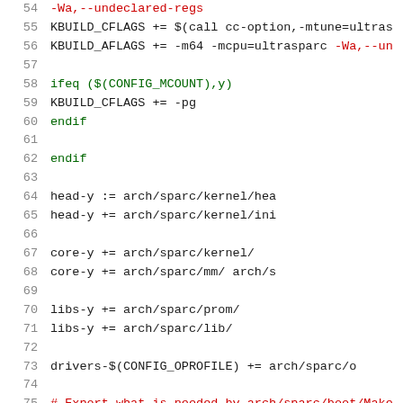[Figure (screenshot): Source code listing (Makefile) showing lines 54-75 with line numbers, containing KBUILD_CFLAGS, KBUILD_AFLAGS, ifeq/endif blocks, head-y, core-y, libs-y, drivers-$(CONFIG_OPROFILE) assignments in a monospaced code editor view.]